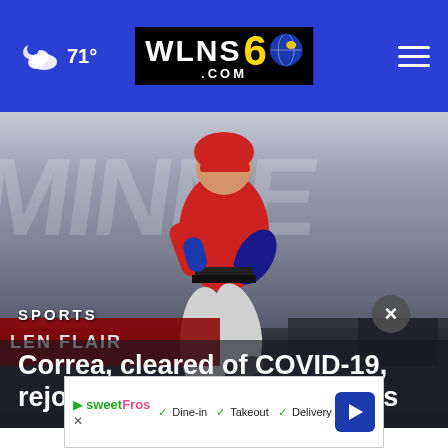WLNS 6 .COM — 71° weather — hamburger menu
[Figure (photo): Baseball player in red jersey and gray pants running, photographed mid-stride against a blue stadium background with large white lettering]
SPORTS
Correa, cleared of COVID-19, rejoins Twins to face Yankees
[Figure (other): Advertisement banner: sweetFrog logo, Dine-in, Takeout, Delivery checkmarks, navigation arrow icon]